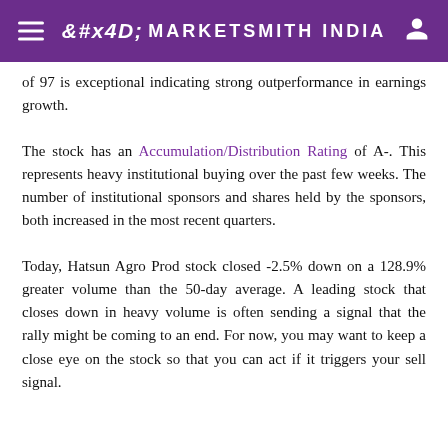MarketSmith India
of 97 is exceptional indicating strong outperformance in earnings growth.
The stock has an Accumulation/Distribution Rating of A-. This represents heavy institutional buying over the past few weeks. The number of institutional sponsors and shares held by the sponsors, both increased in the most recent quarters.
Today, Hatsun Agro Prod stock closed -2.5% down on a 128.9% greater volume than the 50-day average. A leading stock that closes down in heavy volume is often sending a signal that the rally might be coming to an end. For now, you may want to keep a close eye on the stock so that you can act if it triggers your sell signal.